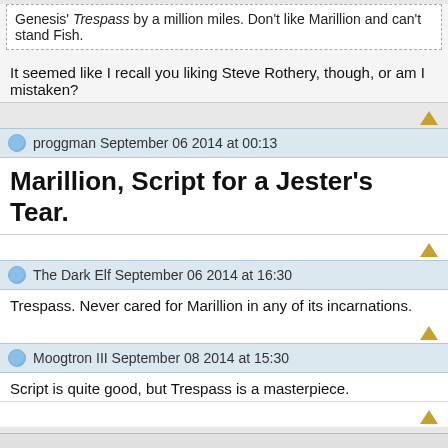Genesis' Trespass by a million miles. Don't like Marillion and can't stand Fish.
It seemed like I recall you liking Steve Rothery, though, or am I mistaken?
proggman September 06 2014 at 00:13
Marillion, Script for a Jester's Tear.
The Dark Elf September 06 2014 at 16:30
Trespass. Never cared for Marillion in any of its incarnations.
Moogtron III September 08 2014 at 15:30
Script is quite good, but Trespass is a masterpiece.